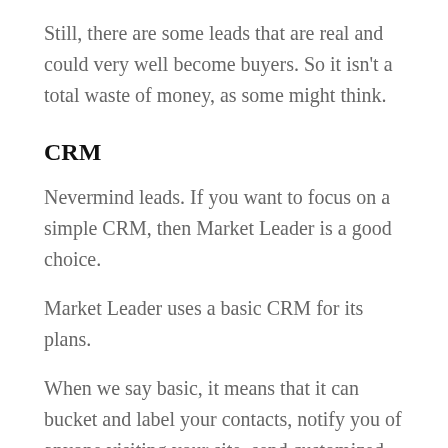Still, there are some leads that are real and could very well become buyers. So it isn't a total waste of money, as some might think.
CRM
Nevermind leads. If you want to focus on a simple CRM, then Market Leader is a good choice.
Market Leader uses a basic CRM for its plans.
When we say basic, it means that it can bucket and label your contacts, notify you of anyone visiting your site, send customized emails